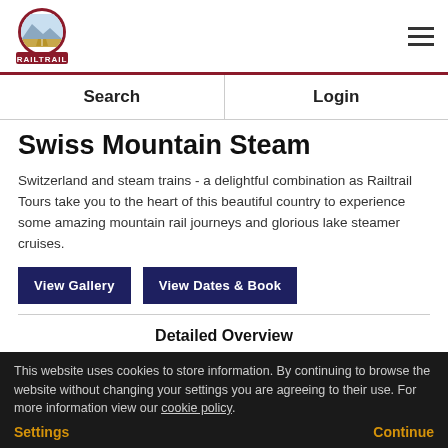[Figure (logo): Railtrail logo: circular emblem with landscape scene, red border, RAILTRAIL text below on dark red background]
Search | Login
Swiss Mountain Steam
Switzerland and steam trains - a delightful combination as Railtrail Tours take you to the heart of this beautiful country to experience some amazing mountain rail journeys and glorious lake steamer cruises.
View Gallery | View Dates & Book
Detailed Overview
This website uses cookies to store information. By continuing to browse the website without changing your settings you are agreeing to their use. For more information view our cookie policy.
Settings | Continue